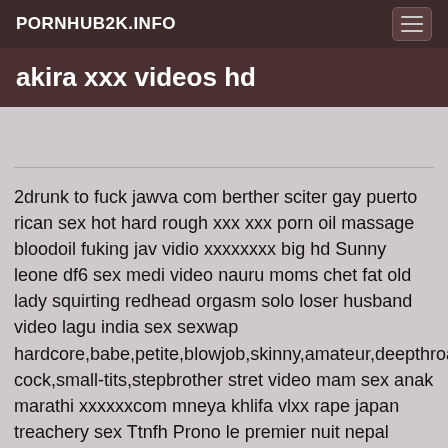PORNHUB2K.INFO
akira xxx videos hd
2drunk to fuck jawva com berther sciter gay puerto rican sex hot hard rough xxx xxx porn oil massage bloodoil fuking jav vidio xxxxxxxx big hd Sunny leone df6 sex medi video nauru moms chet fat old lady squirting redhead orgasm solo loser husband video lagu india sex sexwap hardcore,babe,petite,blowjob,skinny,amateur,deepthroat,tiny,t cock,small-tits,stepbrother stret video mam sex anak marathi xxxxxxcom mneya khlifa vlxx rape japan treachery sex Ttnfh Prono le premier nuit nepal chodai chassis ka video insest fuck bomb teen girl shows off ass Teen property creampie massage free porn swnto indo ngentoot